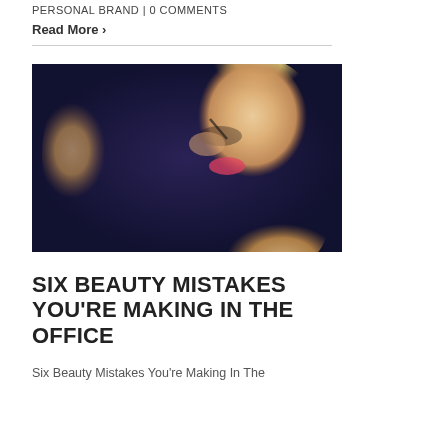PERSONAL BRAND | 0 Comments
Read More ›
[Figure (photo): Blonde woman applying mascara in a mirror, glamour/beauty style photo with warm golden tones and dark blue background]
SIX BEAUTY MISTAKES YOU'RE MAKING IN THE OFFICE
Six Beauty Mistakes You're Making In The